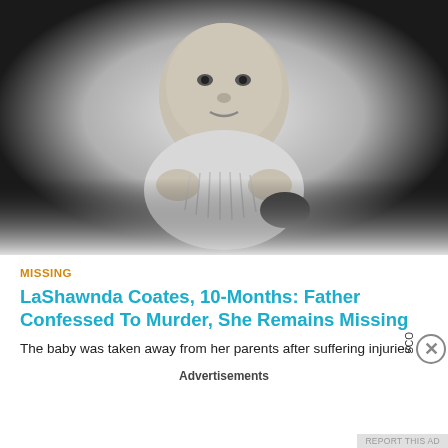[Figure (photo): Black and white photo of a baby (LaShawnda Coates) looking downward, wearing a light-colored outfit, against a dark background with lighter center.]
MISSING
LaShawnda Coates, 10-Months: Father Confessed To Murder, She Remains Missing
The baby was taken away from her parents after suffering injuries
Advertisements